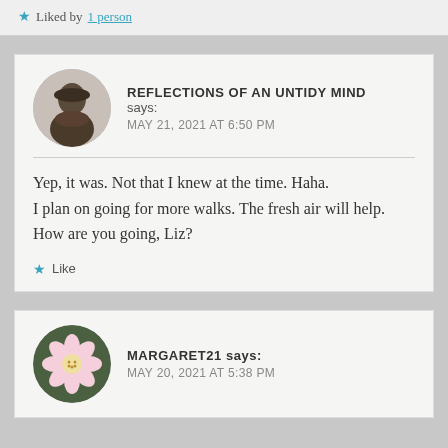Liked by 1person
REFLECTIONS OF AN UNTIDY MIND says:
MAY 21, 2021 AT 6:50 PM
Yep, it was. Not that I knew at the time. Haha.
I plan on going for more walks. The fresh air will help.
How are you going, Liz?
Like
MARGARET21 says:
MAY 20, 2021 AT 5:38 PM